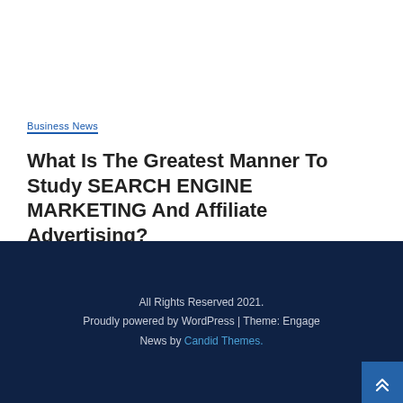Business News
What Is The Greatest Manner To Study SEARCH ENGINE MARKETING And Affiliate Advertising?
August 30, 2022  3 min read
All Rights Reserved 2021. Proudly powered by WordPress | Theme: Engage News by Candid Themes.